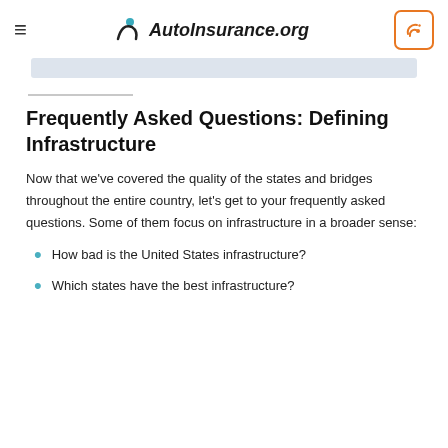AutoInsurance.org
Frequently Asked Questions: Defining Infrastructure
Now that we've covered the quality of the states and bridges throughout the entire country, let's get to your frequently asked questions. Some of them focus on infrastructure in a broader sense:
How bad is the United States infrastructure?
Which states have the best infrastructure?